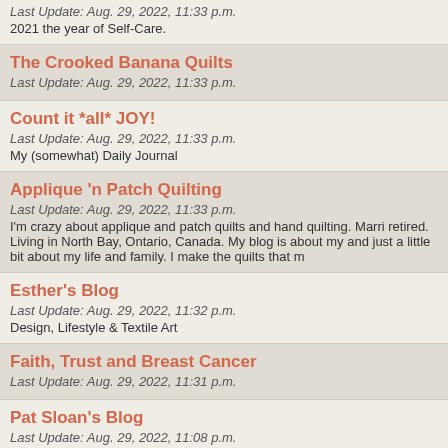Last Update: Aug. 29, 2022, 11:33 p.m.
2021 the year of Self-Care.
The Crooked Banana Quilts
Last Update: Aug. 29, 2022, 11:33 p.m.
Count it *all* JOY!
Last Update: Aug. 29, 2022, 11:33 p.m.
My (somewhat) Daily Journal
Applique 'n Patch Quilting
Last Update: Aug. 29, 2022, 11:33 p.m.
I'm crazy about applique and patch quilts and hand quilting. Marri retired. Living in North Bay, Ontario, Canada. My blog is about my and just a little bit about my life and family. I make the quilts that m
Esther's Blog
Last Update: Aug. 29, 2022, 11:32 p.m.
Design, Lifestyle & Textile Art
Faith, Trust and Breast Cancer
Last Update: Aug. 29, 2022, 11:31 p.m.
Pat Sloan's Blog
Last Update: Aug. 29, 2022, 11:08 p.m.
Pat Sloan's corner of the internet, thoughts on quilting, travel, dec more!
Play Crafts